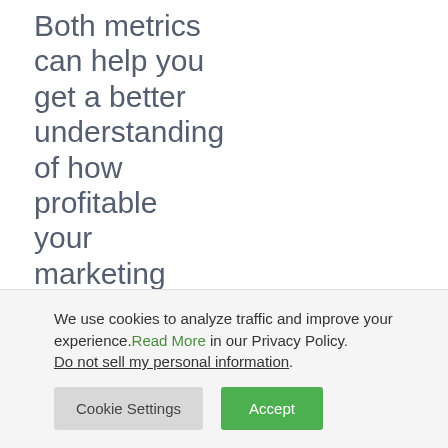Both metrics can help you get a better understanding of how profitable your marketing campaign is. Monitoring
We use cookies to analyze traffic and improve your experience. Read More in our Privacy Policy. Do not sell my personal information.